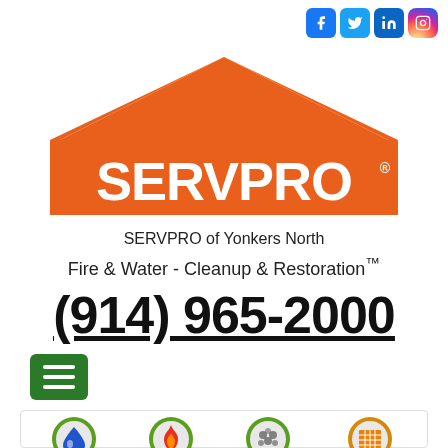[Figure (logo): Social media icons: Facebook, Twitter, LinkedIn, Instagram]
[Figure (logo): SERVPRO orange house roof logo with SERVPRO text in white]
SERVPRO of Yonkers North
Fire & Water - Cleanup & Restoration™
(914) 965-2000
[Figure (screenshot): Green hamburger menu button]
[Figure (infographic): Four service icons: WATER (blue droplet), FIRE (red flame), MOLD (green mold spots), COMMERCIAL (orange building) — each inside a green map-pin shape with labels below]